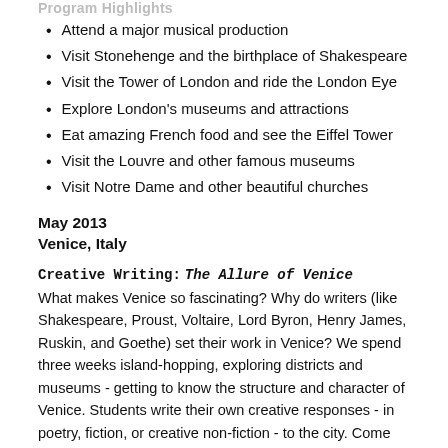Program Highlights
Attend a major musical production
Visit Stonehenge and the birthplace of Shakespeare
Visit the Tower of London and ride the London Eye
Explore London's museums and attractions
Eat amazing French food and see the Eiffel Tower
Visit the Louvre and other famous museums
Visit Notre Dame and other beautiful churches
May 2013
Venice, Italy
Creative Writing: The Allure of Venice
What makes Venice so fascinating? Why do writers (like Shakespeare, Proust, Voltaire, Lord Byron, Henry James, Ruskin, and Goethe) set their work in Venice? We spend three weeks island-hopping, exploring districts and museums - getting to know the structure and character of Venice. Students write their own creative responses - in poetry, fiction, or creative non-fiction - to the city. Come and discover how place inspires the imagination.